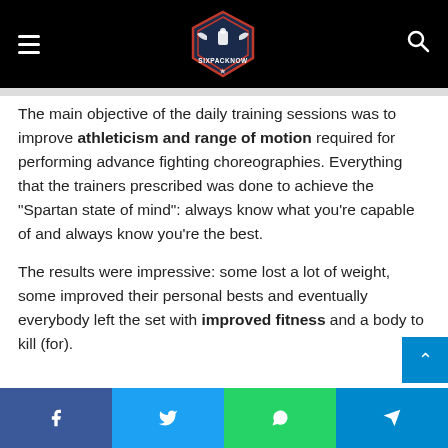SIXPACKNOW
The main objective of the daily training sessions was to improve athleticism and range of motion required for performing advance fighting choreographies. Everything that the trainers prescribed was done to achieve the “Spartan state of mind”: always know what you’re capable of and always know you’re the best.
The results were impressive: some lost a lot of weight, some improved their personal bests and eventually everybody left the set with improved fitness and a body to kill (for).